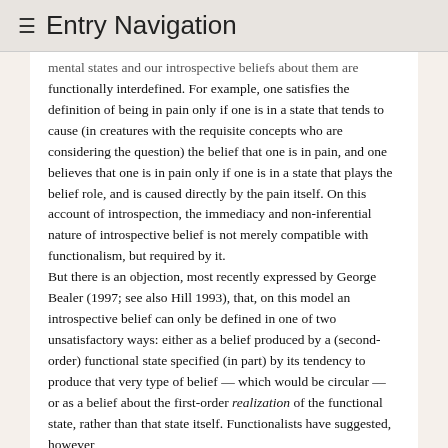≡ Entry Navigation
mental states and our introspective beliefs about them are functionally interdefined. For example, one satisfies the definition of being in pain only if one is in a state that tends to cause (in creatures with the requisite concepts who are considering the question) the belief that one is in pain, and one believes that one is in pain only if one is in a state that plays the belief role, and is caused directly by the pain itself. On this account of introspection, the immediacy and non-inferential nature of introspective belief is not merely compatible with functionalism, but required by it.
But there is an objection, most recently expressed by George Bealer (1997; see also Hill 1993), that, on this model an introspective belief can only be defined in one of two unsatisfactory ways: either as a belief produced by a (second-order) functional state specified (in part) by its tendency to produce that very type of belief — which would be circular — or as a belief about the first-order realization of the functional state, rather than that state itself. Functionalists have suggested, however